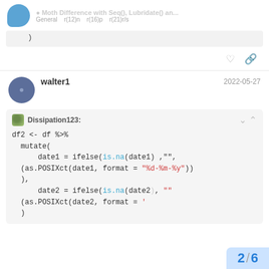Moth Difference with Seq(), Lubridate() an... General
)
walter1  2022-05-27
Dissipation123:
df2 <- df %>%
  mutate(
      date1 = ifelse(is.na(date1) ,"",
  (as.POSIXct(date1, format = "%d-%m-%y"))
  ),
      date2 = ifelse(is.na(date2), ""
  (as.POSIXct(date2, format = '
2 / 6